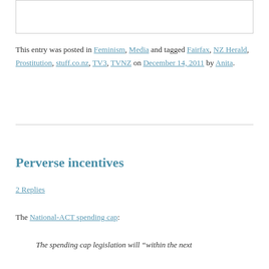This entry was posted in Feminism, Media and tagged Fairfax, NZ Herald, Prostitution, stuff.co.nz, TV3, TVNZ on December 14, 2011 by Anita.
Perverse incentives
2 Replies
The National-ACT spending cap:
The spending cap legislation will “within the next